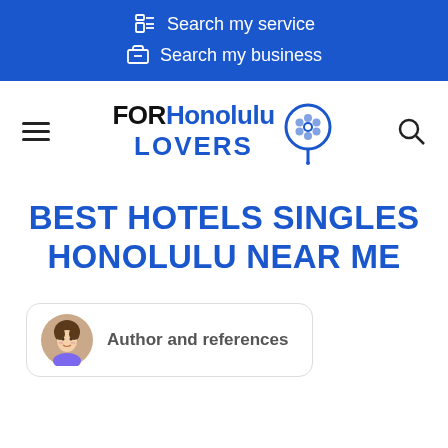Search my service
Search my business
[Figure (logo): FORHonolulu LOVERS logo with map pin icon]
BEST HOTELS SINGLES HONOLULU NEAR ME
Author and references